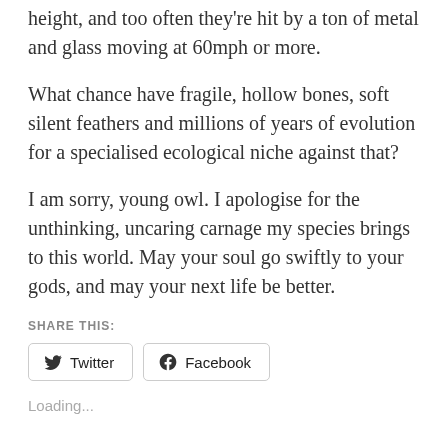height, and too often they're hit by a ton of metal and glass moving at 60mph or more.
What chance have fragile, hollow bones, soft silent feathers and millions of years of evolution for a specialised ecological niche against that?
I am sorry, young owl. I apologise for the unthinking, uncaring carnage my species brings to this world. May your soul go swiftly to your gods, and may your next life be better.
SHARE THIS:
Twitter  Facebook
Loading...